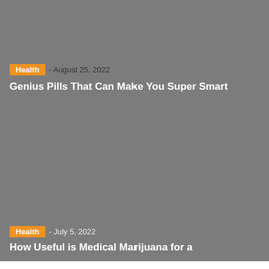[Figure (photo): Gray placeholder image for article about genius pills]
Health - August 25, 2022
Genius Pills That Can Make You Super Smart
[Figure (photo): Gray placeholder image for article about medical marijuana]
Health - July 5, 2022
How Useful is Medical Marijuana for a